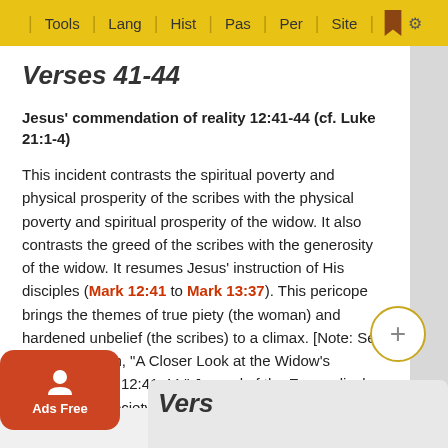Tools | Lang | Hist | Pas | Per | Site
Verses 41-44
Jesus' commendation of reality 12:41-44 (cf. Luke 21:1-4)
This incident contrasts the spiritual poverty and physical prosperity of the scribes with the physical poverty and spiritual prosperity of the widow. It also contrasts the greed of the scribes with the generosity of the widow. It resumes Jesus' instruction of His disciples (Mark 12:41 to Mark 13:37). This pericope brings the themes of true piety (the woman) and hardened unbelief (the scribes) to a climax. [Note: See Geoffrey Smith, "A Closer Look at the Widow's Offering: Mark 12:41-44," Journal of the Evangelical Theological Society 40:1 (March 1997)27-36.]
Vers…